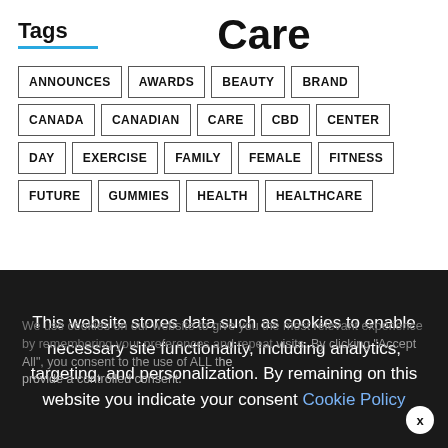Tags
Care
ANNOUNCES
AWARDS
BEAUTY
BRAND
CANADA
CANADIAN
CARE
CBD
CENTER
DAY
EXERCISE
FAMILY
FEMALE
FITNESS
FUTURE
GUMMIES
HEALTH
HEALTHCARE
We use cookies on our website to give you the most relevant experience by remembering your preferences and repeat visits. By clicking "Accept All", you consent to the use of ALL the cookies. However, you may visit "Cookie Settings" to provide a controlled consent.
This website stores data such as cookies to enable necessary site functionality, including analytics, targeting, and personalization. By remaining on this website you indicate your consent Cookie Policy